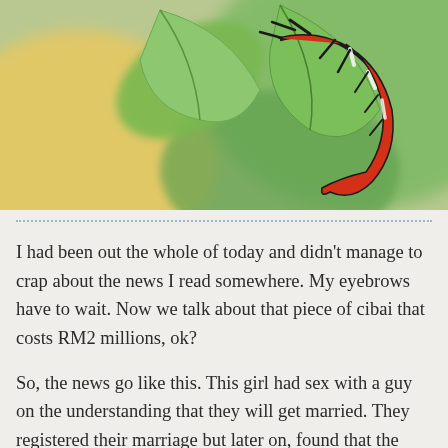[Figure (photo): Close-up macro photograph of a red and black caterpillar or insect climbing on a green leaf, with a blurred warm orange and green background.]
I had been out the whole of today and didn't manage to crap about the news I read somewhere. My eyebrows have to wait. Now we talk about that piece of cibai that costs RM2 millions, ok?
So, the news go like this. This girl had sex with a guy on the understanding that they will get married. They registered their marriage but later on, found that the